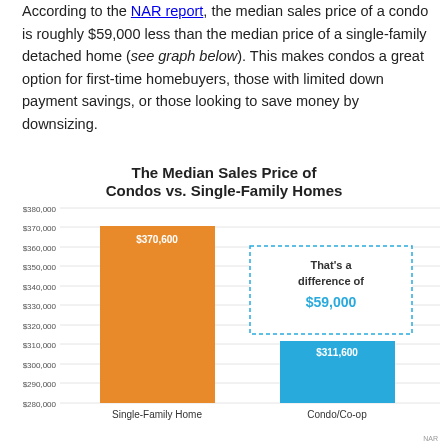According to the NAR report, the median sales price of a condo is roughly $59,000 less than the median price of a single-family detached home (see graph below). This makes condos a great option for first-time homebuyers, those with limited down payment savings, or those looking to save money by downsizing.
[Figure (bar-chart): The Median Sales Price of Condos vs. Single-Family Homes]